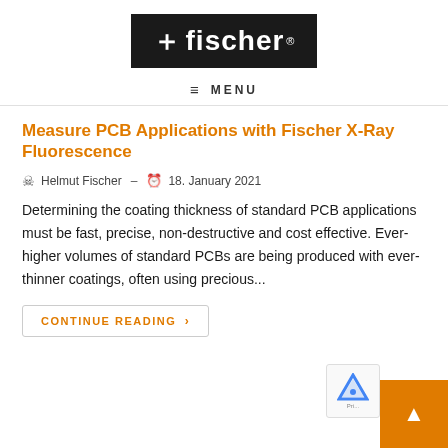[Figure (logo): Fischer logo - white text on black background with registered trademark symbol]
≡ MENU
Measure PCB Applications with Fischer X-Ray Fluorescence
Helmut Fischer - 18. January 2021
Determining the coating thickness of standard PCB applications must be fast, precise, non-destructive and cost effective. Ever-higher volumes of standard PCBs are being produced with ever-thinner coatings, often using precious...
Continue Reading ›